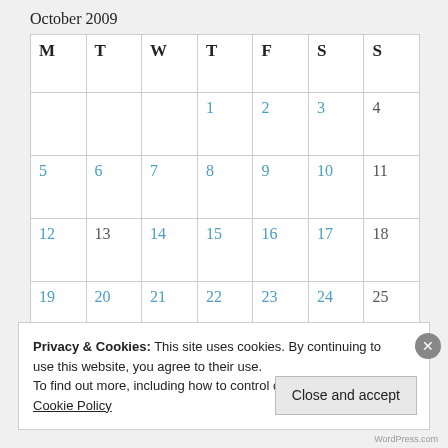October 2009
| M | T | W | T | F | S | S |
| --- | --- | --- | --- | --- | --- | --- |
|  |  |  | 1 | 2 | 3 | 4 |
| 5 | 6 | 7 | 8 | 9 | 10 | 11 |
| 12 | 13 | 14 | 15 | 16 | 17 | 18 |
| 19 | 20 | 21 | 22 | 23 | 24 | 25 |
| 26 | 27 | 28 | 29 | 30 | 31 |  |
Privacy & Cookies: This site uses cookies. By continuing to use this website, you agree to their use.
To find out more, including how to control cookies, see here: Cookie Policy
Close and accept